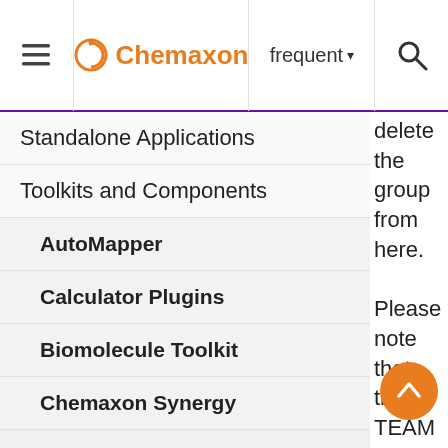Chemaxon | frequent | search
Standalone Applications
Toolkits and Components
AutoMapper
Calculator Plugins
Biomolecule Toolkit
Chemaxon Synergy
Chemaxon Synergy User Guide
Chemaxon Synergy User Guid...
Guide for Team Administrators
delete the group from here. Please note that the TEAM group an excep